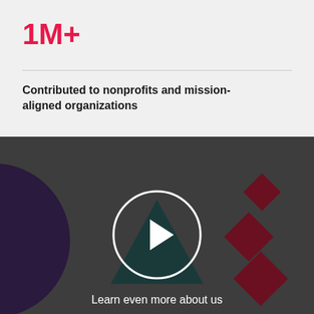1M+
Contributed to nonprofits and mission-aligned organizations
[Figure (illustration): Dark gray background section with a video play button (white circle with white triangle/play icon) in the center. Behind the play button is a dark teal triangle shape. To the left is a large dark purple circle partially cut off. To the right are dark maroon diamond/rhombus shapes arranged vertically. Below the play button is the text 'Learn even more about us' in white.]